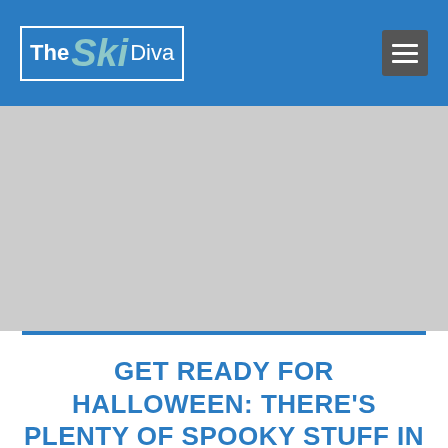[Figure (logo): The Ski Diva logo with white border box, white text for 'The' and 'Diva', teal italic text for 'Ski']
GET READY FOR HALLOWEEN: THERE'S PLENTY OF SPOOKY STUFF IN SKI COUNTRY